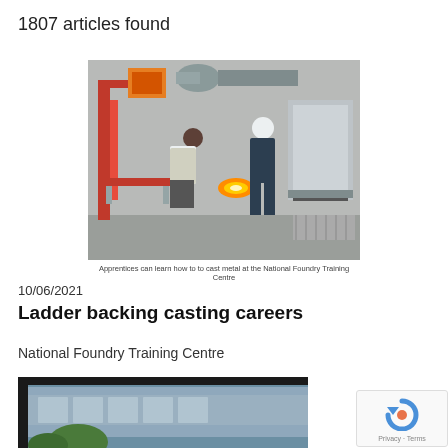1807 articles found
[Figure (photo): Two apprentices in protective gear casting metal at an industrial foundry training facility with red equipment and machinery]
Apprentices can learn how to to cast metal at the National Foundry Training Centre
10/06/2021
Ladder backing casting careers
National Foundry Training Centre
[Figure (photo): Partially visible photo showing a building exterior through a window with plants in the foreground]
[Figure (logo): reCAPTCHA badge with Privacy and Terms links]